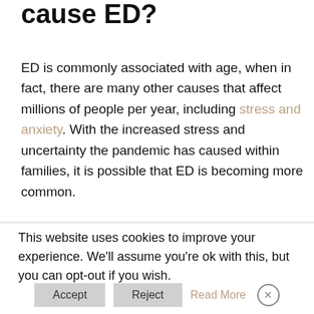cause ED?
ED is commonly associated with age, when in fact, there are many other causes that affect millions of people per year, including stress and anxiety. With the increased stress and uncertainty the pandemic has caused within families, it is possible that ED is becoming more common.
This website uses cookies to improve your experience. We'll assume you're ok with this, but you can opt-out if you wish.